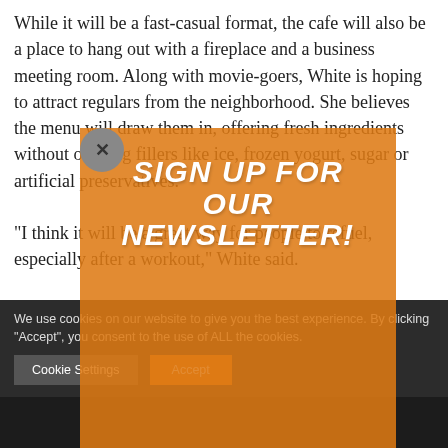While it will be a fast-casual format, the cafe will also be a place to hang out with a fireplace and a business meeting room. Along with movie-goers, White is hoping to attract regulars from the neighborhood. She believes the menu will draw them in, offering fresh ingredients without offering fillers like ice, frozen yogurt, sugar or artificial preservatives.
"I think it will be a great way for people to refuel, especially after a workout," White said.
After the Barkley cafe opens, the Whites plan on looking at other nearby areas to open smaller cafes. A
[Figure (other): Orange overlay modal with newsletter sign-up. Title reads 'SIGN UP FOR OUR NEWSLETTER!' in large white brush-style font. Subtitle reads 'Join our mailing list to receive the latest news and updates from our team.' Orange semi-transparent background over article content.]
We use cookies on our website to give you the best experience. By clicking "Accept", you consent to the use of ALL the cookies.
Cookie Settings    Accept